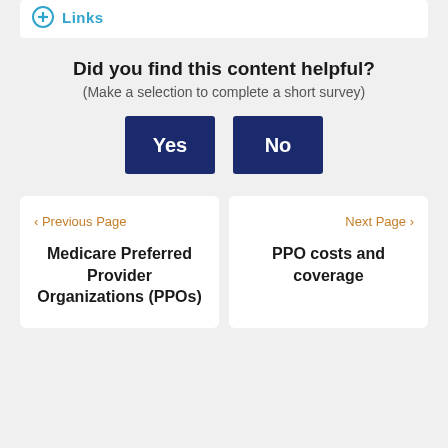[Figure (other): Circular plus icon with Links text in teal/cyan color]
Did you find this content helpful?
(Make a selection to complete a short survey)
Yes | No (buttons)
‹ Previous Page
Medicare Preferred Provider Organizations (PPOs)
Next Page ›
PPO costs and coverage